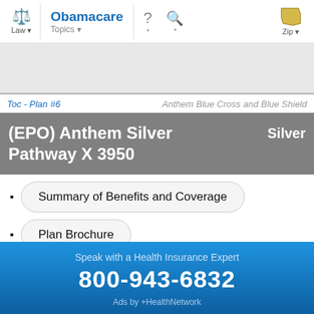Law | Obamacare Topics | ? | Search | Zip
Toc - Plan #6   Anthem Blue Cross and Blue Shield
(EPO) Anthem Silver Pathway X 3950  Silver
Summary of Benefits and Coverage
Plan Brochure
Speak with a Health Insurance Expert
800-943-6832
Ads by +HealthNetwork